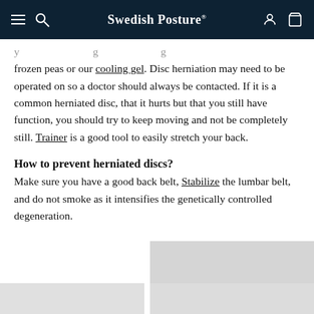Swedish Posture
frozen peas or our cooling gel. Disc herniation may need to be operated on so a doctor should always be contacted. If it is a common herniated disc, that it hurts but that you still have function, you should try to keep moving and not be completely still. Trainer is a good tool to easily stretch your back.
How to prevent herniated discs?
Make sure you have a good back belt, Stabilize the lumbar belt, and do not smoke as it intensifies the genetically controlled degeneration.
[Figure (photo): Partial bottom section showing two gray image placeholders side by side at the bottom of the page]